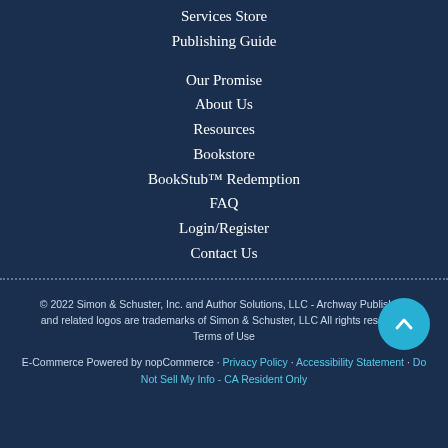Services Store
Publishing Guide
Our Promise
About Us
Resources
Bookstore
BookStub™ Redemption
FAQ
Login/Register
Contact Us
© 2022 Simon & Schuster, Inc. and Author Solutions, LLC - Archway Publishing and related logos are trademarks of Simon & Schuster, LLC All rights reserved. Terms of Use

E-Commerce Powered by nopCommerce · Privacy Policy · Accessibility Statement · Do Not Sell My Info - CA Resident Only